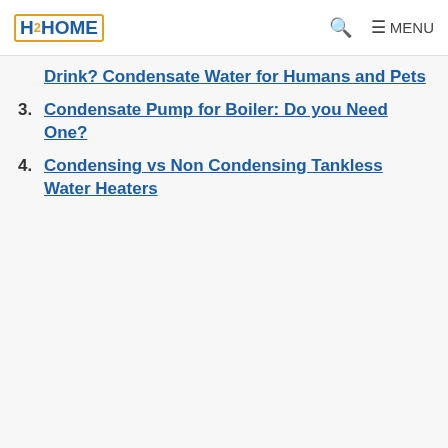H2HOME | MENU
Drink? Condensate Water for Humans and Pets
3. Condensate Pump for Boiler: Do you Need One?
4. Condensing vs Non Condensing Tankless Water Heaters